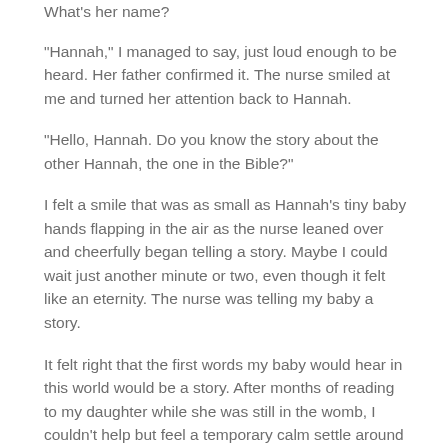What's her name?
“Hannah,” I managed to say, just loud enough to be heard. Her father confirmed it. The nurse smiled at me and turned her attention back to Hannah.
“Hello, Hannah. Do you know the story about the other Hannah, the one in the Bible?”
I felt a smile that was as small as Hannah’s tiny baby hands flapping in the air as the nurse leaned over and cheerfully began telling a story. Maybe I could wait just another minute or two, even though it felt like an eternity. The nurse was telling my baby a story.
It felt right that the first words my baby would hear in this world would be a story. After months of reading to my daughter while she was still in the womb, I couldn’t help but feel a temporary calm settle around the room. I couldn’t help but